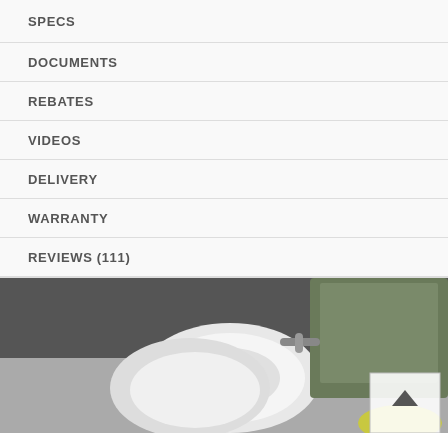SPECS
DOCUMENTS
REBATES
VIDEOS
DELIVERY
WARRANTY
REVIEWS (111)
[Figure (photo): Photo of dishes and cookware in a dishwasher, partially visible at bottom of page, black and white tones with some color elements]